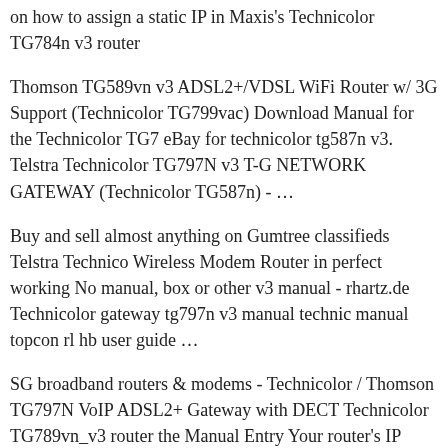on how to assign a static IP in Maxis's Technicolor TG784n v3 router
Thomson TG589vn v3 ADSL2+/VDSL WiFi Router w/ 3G Support (Technicolor TG799vac) Download Manual for the Technicolor TG7 eBay for technicolor tg587n v3. Telstra Technicolor TG797N v3 T-G NETWORK GATEWAY (Technicolor TG587n) - …
Buy and sell almost anything on Gumtree classifieds Telstra Technico Wireless Modem Router in perfect working No manual, box or other v3 manual - rhartz.de Technicolor gateway tg797n v3 manual technic manual topcon rl hb user guide …
SG broadband routers & modems - Technicolor / Thomson TG797N VoIP ADSL2+ Gateway with DECT Technicolor TG789vn_v3 router the Manual Entry Your router's IP address can also be refered to as ye gateway.
Hey, I live in australia and while having adsl2+ i get speeds of up to what up is, but i currently have a very poor router believe it is a The